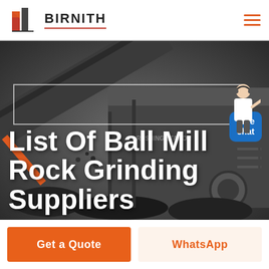BIRNITH
[Figure (screenshot): Birnith company website screenshot showing logo with building icon on the left, company name BIRNITH with red underline, hamburger menu icon in orange on the right, hero image of industrial rock crushing/grinding machinery in dark background, large white bold text overlay reading 'List Of Ball Mill Rock Grinding Suppliers', a blue 'Free chat' button bubble on the right, a customer service representative figure, and two bottom buttons: orange 'Get a Quote' and light orange 'WhatsApp']
List Of Ball Mill Rock Grinding Suppliers